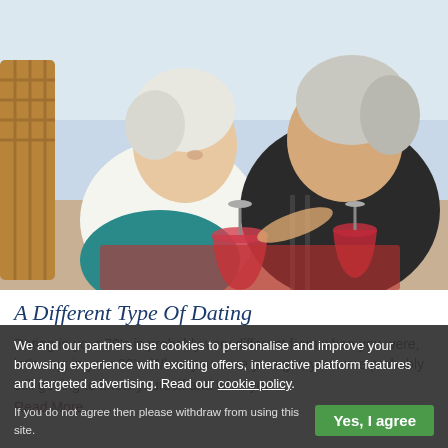[Figure (photo): An elderly couple sitting outdoors, smiling at each other and holding glasses of red wine. The woman wears a white sleeveless top and teal dress, the man wears a dark t-shirt. Background suggests a beach or outdoor cafe setting.]
A Different Type Of Dating
Dating in your 70's is probably very different from when you were, let's say; in your 20's. When you were younger, you were probably still getting to know yourself and what you
Read More...
We and our partners use cookies to personalise and improve your browsing experience with exciting offers, interactive platform features and targeted advertising. Read our cookie policy.
If you do not agree then please withdraw from using this site.
Yes, I agree